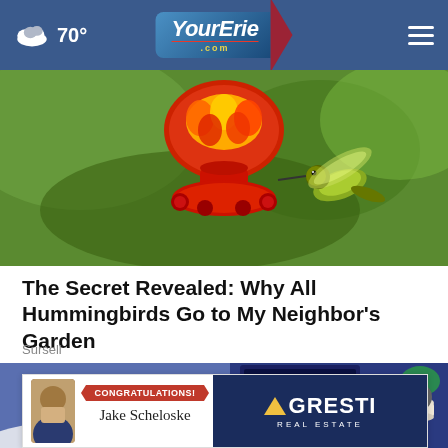☁ 70° — YourErie.com
[Figure (photo): Close-up photo of a red hummingbird feeder with a green hummingbird hovering nearby]
The Secret Revealed: Why All Hummingbirds Go to My Neighbor's Garden
Sursell
[Figure (illustration): Animated illustration of a young man waking up in bed with a digital clock showing 01:37 on a nightstand]
[Figure (infographic): Advertisement banner: CONGRATULATIONS! Jake Scheloske — Agresti Real Estate]